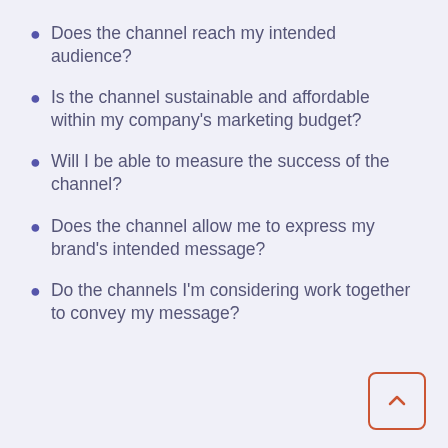Does the channel reach my intended audience?
Is the channel sustainable and affordable within my company's marketing budget?
Will I be able to measure the success of the channel?
Does the channel allow me to express my brand's intended message?
Do the channels I'm considering work together to convey my message?